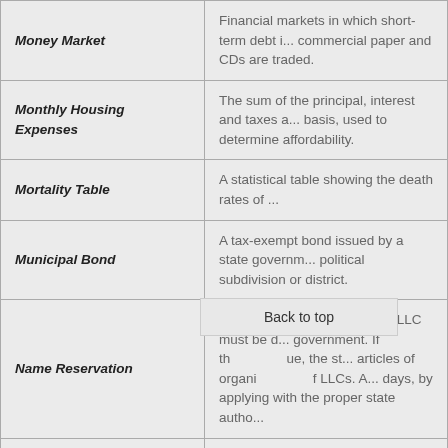| Term | Definition |
| --- | --- |
| Money Market | Financial markets in which short-term debt instruments such as commercial paper and CDs are traded. |
| Monthly Housing Expenses | The sum of the principal, interest and taxes assessed on a monthly basis, used to determine affordability. |
| Mortality Table | A statistical table showing the death rates of a population. |
| Municipal Bond | A tax-exempt bond issued by a state government, municipality, political subdivision or district. |
| Name Reservation | The name of a corporation or LLC must be distinguished from other names on file with the state government. If the name is available, the state will reserve it for a set period, usually 120 days, by applying with the proper state authority. |
| National Association of Securities Dealers Automated Quotations (NASDAQ) | A computerized system that facilitates trading of over-the-counter (OTC) securities. |